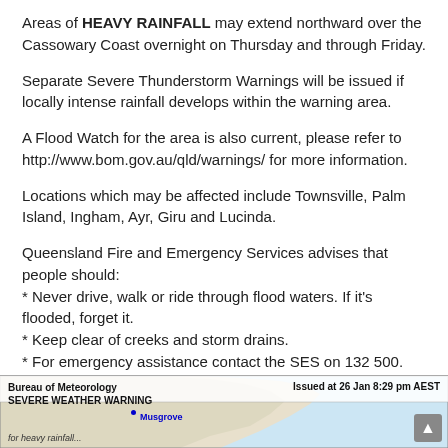Areas of HEAVY RAINFALL may extend northward over the Cassowary Coast overnight on Thursday and through Friday.
Separate Severe Thunderstorm Warnings will be issued if locally intense rainfall develops within the warning area.
A Flood Watch for the area is also current, please refer to http://www.bom.gov.au/qld/warnings/ for more information.
Locations which may be affected include Townsville, Palm Island, Ingham, Ayr, Giru and Lucinda.
Queensland Fire and Emergency Services advises that people should:
* Never drive, walk or ride through flood waters. If it's flooded, forget it.
* Keep clear of creeks and storm drains.
* For emergency assistance contact the SES on 132 500.
[Figure (map): Bureau of Meteorology Severe Weather Warning map showing Queensland coastline. Issued at 26 Jan 8:29 pm AEST. Shows Musgrove location marked with a blue dot.]